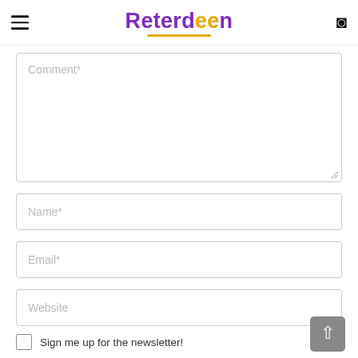Reterdeen
[Figure (screenshot): Comment textarea form field with placeholder text 'Comment*']
[Figure (screenshot): Name input field with placeholder text 'Name*']
[Figure (screenshot): Email input field with placeholder text 'Email*']
[Figure (screenshot): Website input field with placeholder text 'Website']
Sign me up for the newsletter!